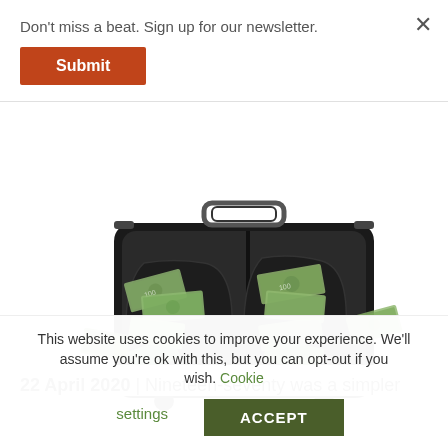Don't miss a beat. Sign up for our newsletter.
Submit
[Figure (photo): A black rolling suitcase/bag overflowing with bundled US dollar bills in various compartments and pockets.]
22 April 2020 | Nineteen-seventy was a simpler
This website uses cookies to improve your experience. We'll assume you're ok with this, but you can opt-out if you wish. Cookie settings ACCEPT